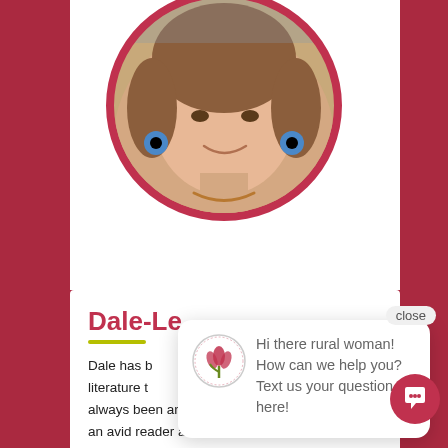[Figure (photo): Circular portrait photo of a woman with short hair and blue earrings, framed with a pink/red circular border, positioned at the top center of the page.]
[Figure (screenshot): A chat popup widget showing a logo (Rural Woman/tulip icon) and the message: 'Hi there rural woman! How can we help you? Text us your question here!' with a close button and a red chat bubble button.]
Dale-Le
Dale has b... literature t... always been an integral part of her life. She is an avid reader and writer and believes that through personal writing we can self counsel, celebrate our lives and share our stories